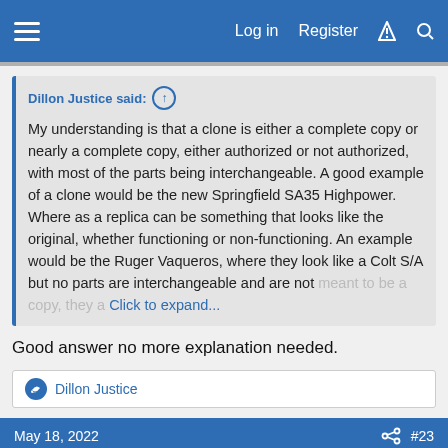Log in  Register
Dillon Justice said: ↑

My understanding is that a clone is either a complete copy or nearly a complete copy, either authorized or not authorized, with most of the parts being interchangeable. A good example of a clone would be the new Springfield SA35 Highpower. Where as a replica can be something that looks like the original, whether functioning or non-functioning. An example would be the Ruger Vaqueros, where they look like a Colt S/A but no parts are interchangeable and are not meant to be a copy, they are Click to expand...
Good answer no more explanation needed.
Dillon Justice
May 18, 2022  #23
Rclark
Hunter